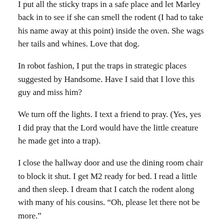I put all the sticky traps in a safe place and let Marley back in to see if she can smell the rodent (I had to take his name away at this point) inside the oven. She wags her tails and whines. Love that dog.
In robot fashion, I put the traps in strategic places suggested by Handsome. Have I said that I love this guy and miss him?
We turn off the lights. I text a friend to pray. (Yes, yes I did pray that the Lord would have the little creature he made get into a trap).
I close the hallway door and use the dining room chair to block it shut. I get M2 ready for bed. I read a little and then sleep. I dream that I catch the rodent along with many of his cousins. “Oh, please let there not be more.”
When she came and...